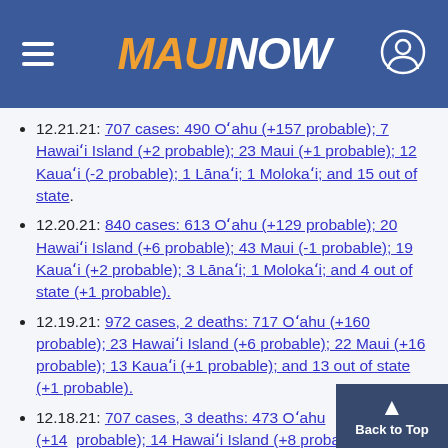MAUI NOW
12.21.21: 707 cases: 490 Oʻahu (+157 probable); 7 Hawaiʻi Island (+2 probable); 23 Maui (+1 probable); 12 Kauaʻi (-2 probable); 1 Lānaʻi; 1 Molokaʻi; and 15 out of state.
12.20.21: 840 cases: 613 Oʻahu (+129 probable); 20 Hawaiʻi Island (+6 probable); 43 Maui (-1 probable); 19 Kauaʻi (+2 probable); 3 Lānaʻi; 1 Molokaʻi; and 4 out of state (+1 probable).
12.19.21: 972 cases, 2 deaths: 717 Oʻahu (+160 probable); 23 Hawaiʻi Island (+6 probable); 22 Maui (+16 probable); 13 Kauaʻi (+1 probable); and 13 out of state (+1 probable).
12.18.21: 707 cases, 3 deaths: 473 Oʻahu (+149 probable); 14 Hawaiʻi Island (+8 probable); Maui (+8 probable); 20 Kauaʻi (+2 probable)...